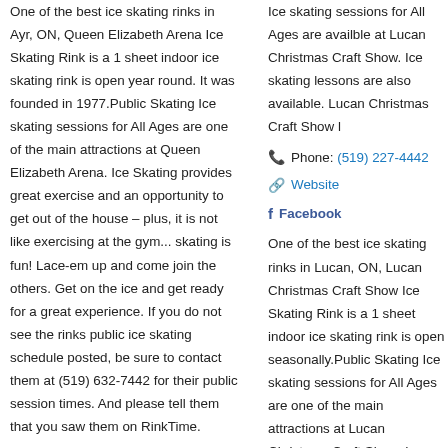One of the best ice skating rinks in Ayr, ON, Queen Elizabeth Arena Ice Skating Rink is a 1 sheet indoor ice skating rink is open year round. It was founded in 1977.Public Skating Ice skating sessions for All Ages are one of the main attractions at Queen Elizabeth Arena. Ice Skating provides great exercise and an opportunity to get out of the house – plus, it is not like exercising at the gym... skating is fun! Lace-em up and come join the others. Get on the ice and get ready for a great experience. If you do not see the rinks public ice skating schedule posted, be sure to contact them at (519) 632-7442 for their public session times. And please tell them that you saw them on RinkTime.
Ice skating sessions for All Ages are availble at Lucan Christmas Craft Show. Ice skating lessons are also available. Lucan Christmas Craft Show l
Phone: (519) 227-4442
Website
Facebook
One of the best ice skating rinks in Lucan, ON, Lucan Christmas Craft Show Ice Skating Rink is a 1 sheet indoor ice skating rink is open seasonally.Public Skating Ice skating sessions for All Ages are one of the main attractions at Lucan Christmas Craft Show. Ice Skating provides great exercise and an opportunity to get out of the house – plus, it is not like exercising at the gym... skating is fun! Lace-em up